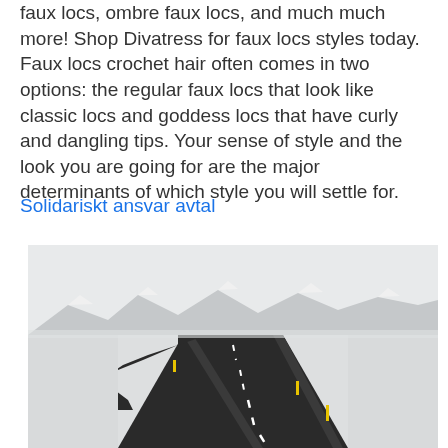faux locs, ombre faux locs, and much much more! Shop Divatress for faux locs styles today. Faux locs crochet hair often comes in two options: the regular faux locs that look like classic locs and goddess locs that have curly and dangling tips. Your sense of style and the look you are going for are the major determinants of which style you will settle for.
Solidariskt ansvar avtal
[Figure (photo): A winding black asphalt road curving through a flat snow-covered landscape, with snow-capped mountains in the background under a pale overcast sky. Yellow roadside markers are visible along the road.]